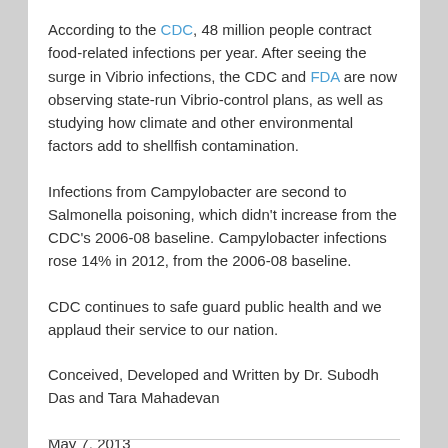According to the CDC, 48 million people contract food-related infections per year. After seeing the surge in Vibrio infections, the CDC and FDA are now observing state-run Vibrio-control plans, as well as studying how climate and other environmental factors add to shellfish contamination.
Infections from Campylobacter are second to Salmonella poisoning, which didn't increase from the CDC's 2006-08 baseline. Campylobacter infections rose 14% in 2012, from the 2006-08 baseline.
CDC continues to safe guard public health and we applaud their service to our nation.
Conceived, Developed and Written by Dr. Subodh Das and Tara Mahadevan
May 7, 2013